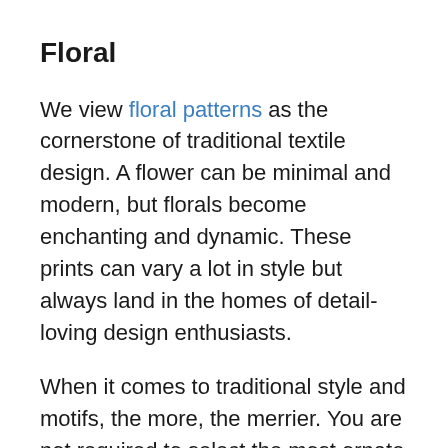Floral
We view floral patterns as the cornerstone of traditional textile design. A flower can be minimal and modern, but florals become enchanting and dynamic. These prints can vary a lot in style but always land in the homes of detail-loving design enthusiasts.
When it comes to traditional style and motifs, the more, the merrier. You are not required to select the most ornate designs to hit the traditional style mark. For example, we’re always thinking of new ways to design with our M9644 Hydrangea textile, which has a lot of space within the pattern but makes up for it with intricate